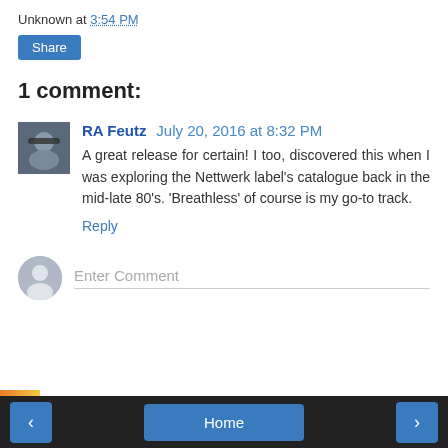Unknown at 3:54 PM
Share
1 comment:
[Figure (photo): Profile photo of RA Feutz, showing a man with sunglasses.]
RA Feutz July 20, 2016 at 8:32 PM
A great release for certain! I too, discovered this when I was exploring the Nettwerk label's catalogue back in the mid-late 80's. 'Breathless' of course is my go-to track.
Reply
Enter Comment
‹  Home  ›